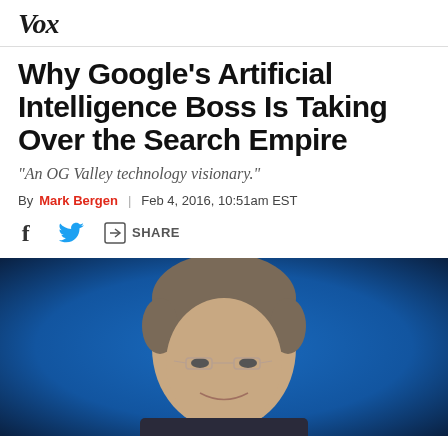Vox
Why Google's Artificial Intelligence Boss Is Taking Over the Search Empire
"An OG Valley technology visionary."
By Mark Bergen | Feb 4, 2016, 10:51am EST
[Figure (other): Social sharing icons: Facebook, Twitter, and a share button]
[Figure (photo): Portrait photo of a middle-aged man with gray-brown hair and glasses against a blue background]